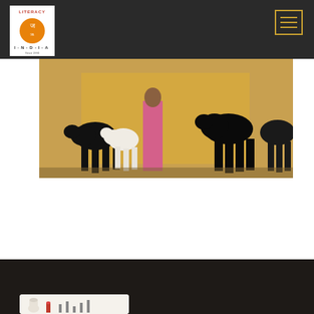[Figure (logo): Literacy India logo — orange circular emblem with text LITERACY above and I-N-D-I-A below, on white background]
[Figure (photo): Photograph of goats (black and white) and a person in pink sari near hay bales in a rural setting]
Sometimes Things do Work Out
Read more
Our Unique Initiatives
Social Enterprise
[Figure (photo): Partial image showing small figurines or craft items in white and red on a light background]